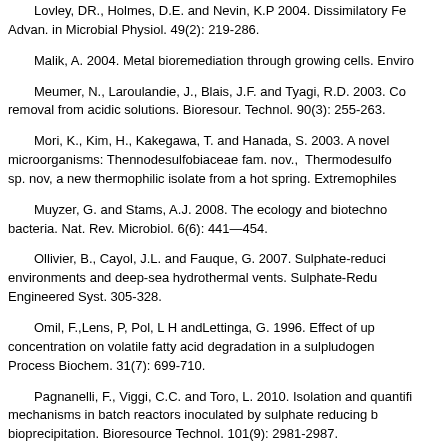Lovley, DR., Holmes, D.E. and Nevin, K.P 2004. Dissimilatory Fe... Advan. in Microbial Physiol. 49(2): 219-286.
Malik, A. 2004. Metal bioremediation through growing cells. Enviro...
Meumer, N., Laroulandie, J., Blais, J.F. and Tyagi, R.D. 2003. Co... removal from acidic solutions. Bioresour. Technol. 90(3): 255-263.
Mori, K., Kim, H., Kakegawa, T. and Hanada, S. 2003. A novel microorganisms: Thennodesulfobiaceae fam. nov., Thermodesulfo... sp. nov, a new thermophilic isolate from a hot spring. Extremophiles...
Muyzer, G. and Stams, A.J. 2008. The ecology and biotechno... bacteria. Nat. Rev. Microbiol. 6(6): 441—454.
Ollivier, B., Cayol, J.L. and Fauque, G. 2007. Sulphate-reduci... environments and deep-sea hydrothermal vents. Sulphate-Redu... Engineered Syst. 305-328.
Omil, F.,Lens, P, Pol, L H andLettinga, G. 1996. Effect of up... concentration on volatile fatty acid degradation in a sulpludogen... Process Biochem. 31(7): 699-710.
Pagnanelli, F., Viggi, C.C. and Toro, L. 2010. Isolation and quantifi... mechanisms in batch reactors inoculated by sulphate reducing b... bioprecipitation. Bioresource Technol. 101(9): 2981-2987.